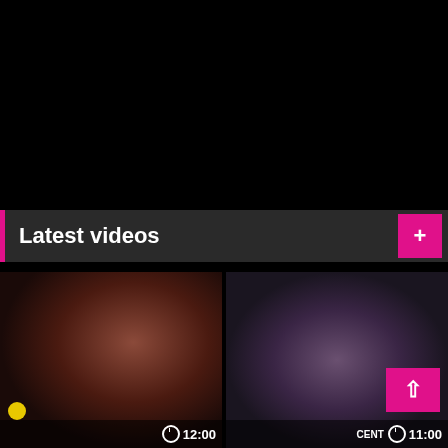Latest videos
[Figure (photo): Video thumbnail showing group scene, dark lighting, duration 12:00]
[Figure (photo): Video thumbnail showing group scene in costumes/masks, duration 11:00, labeled CENT]